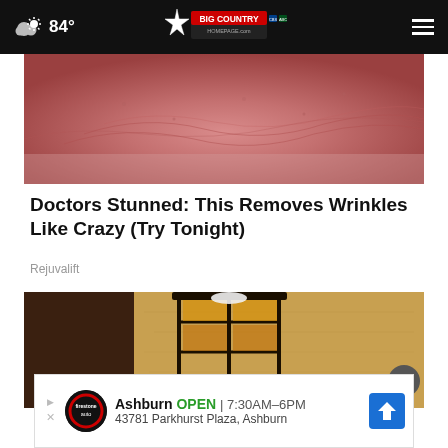84° Big Country Homepage
[Figure (photo): Close-up of skin with wrinkles and texture]
Doctors Stunned: This Removes Wrinkles Like Crazy (Try Tonight)
Rejuvalift
[Figure (photo): Outdoor wall lamp mounted on textured stone wall with iron grille]
Ashburn OPEN | 7:30AM–6PM  43781 Parkhurst Plaza, Ashburn